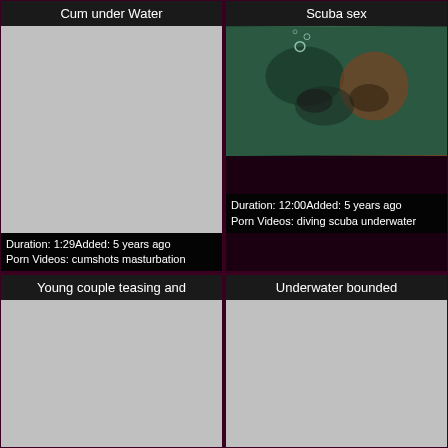Cum under Water
[Figure (photo): Gray placeholder thumbnail for video]
Duration: 1:29Added: 5 years ago
Porn Videos: cumshots masturbation
Scuba sex
[Figure (photo): Underwater photo showing two people in scuba gear]
Duration: 12:00Added: 5 years ago
Porn Videos: diving scuba underwater
Young couple teasing and
[Figure (photo): Gray placeholder thumbnail for video]
Underwater bounded
[Figure (photo): Gray placeholder thumbnail for video]